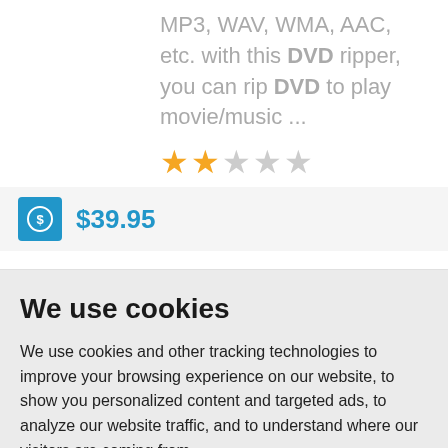MP3, WAV, WMA, AAC, etc. with this DVD ripper, you can rip DVD to play movie/music ...
[Figure (other): 2-star rating out of 5 stars (2 filled orange stars, 3 empty gray stars)]
$39.95
We use cookies
We use cookies and other tracking technologies to improve your browsing experience on our website, to show you personalized content and targeted ads, to analyze our website traffic, and to understand where our visitors are coming from.
I agree
Change my preferences